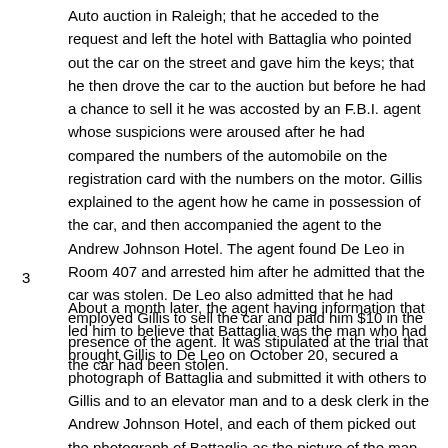Auto auction in Raleigh; that he acceded to the request and left the hotel with Battaglia who pointed out the car on the street and gave him the keys; that he then drove the car to the auction but before he had a chance to sell it he was accosted by an F.B.I. agent whose suspicions were aroused after he had compared the numbers of the automobile on the registration card with the numbers on the motor. Gillis explained to the agent how he came in possession of the car, and then accompanied the agent to the Andrew Johnson Hotel. The agent found De Leo in Room 407 and arrested him after he admitted that the car was stolen. De Leo also admitted that he had employed Gillis to sell the car and paid him $10 in the presence of the agent. It was stipulated at the trial that the car had been stolen.
3
About a month later, the agent having information that led him to believe that Battaglia was the man who had brought Gillis to De Leo on October 20, secured a photograph of Battaglia and submitted it with others to Gillis and to an elevator man and to a desk clerk in the Andrew Johnson Hotel, and each of them picked out the photograph of Battaglia as the picture of the man who had been in company with Gillis, a colored youth, in the hotel on October 20. Each of the three